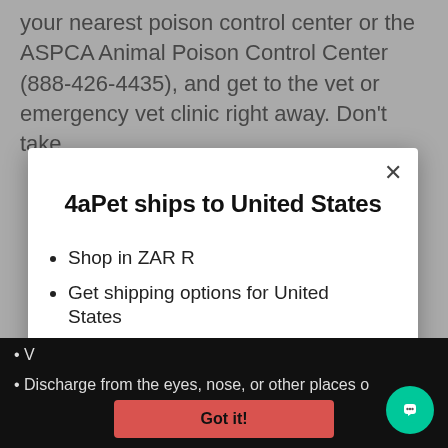your nearest poison control center or the ASPCA Animal Poison Control Center (888-426-4435), and get to the vet or emergency vet clinic right away. Don't take
4aPet ships to United States
Shop in ZAR R
Get shipping options for United States
Shop now
Change shipping country
Got it!
V
Discharge from the eyes, nose, or other places o